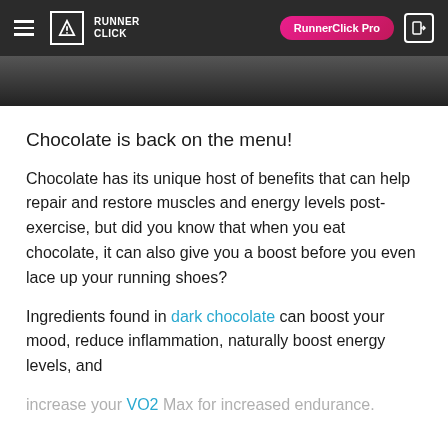RUNNER CLICK — RunnerClick Pro
[Figure (photo): Dark photo strip at top of article page]
Chocolate is back on the menu!
Chocolate has its unique host of benefits that can help repair and restore muscles and energy levels post-exercise, but did you know that when you eat chocolate, it can also give you a boost before you even lace up your running shoes?
Ingredients found in dark chocolate can boost your mood, reduce inflammation, naturally boost energy levels, and increase your VO2 Max for increased endurance.